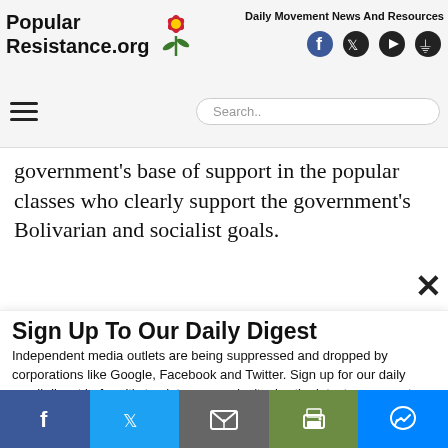Popular Resistance.org — Daily Movement News And Resources
government's base of support in the popular classes who clearly support the government's Bolivarian and socialist goals.
Sign Up To Our Daily Digest
Independent media outlets are being suppressed and dropped by corporations like Google, Facebook and Twitter. Sign up for our daily email digest before it's too late so you don't miss the latest movement news.